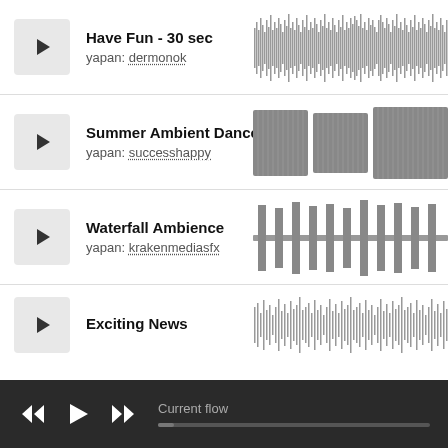Have Fun - 30 sec
yapan: dermonok
[Figure (other): Audio waveform visualization for Have Fun - 30 sec, dense medium-amplitude waveform]
Summer Ambient Dance
yapan: successhappy
[Figure (other): Audio waveform visualization for Summer Ambient Dance, chunky segmented waveform with high amplitude blocks]
Waterfall Ambience
yapan: krakenmediasfx
[Figure (other): Audio waveform visualization for Waterfall Ambience, sparse regular spikes pattern]
Exciting News
[Figure (other): Audio waveform visualization for Exciting News, irregular medium-amplitude waveform]
Current flow